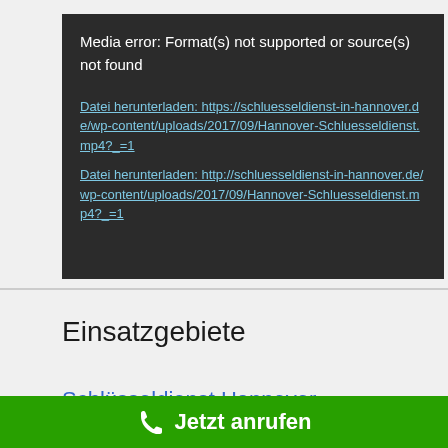[Figure (screenshot): Dark media player error box showing 'Media error: Format(s) not supported or source(s) not found' with two download links for Hannover-Schluesseldienst.mp4]
Einsatzgebiete
Schlüsseldienst Hannover – Tiefpreisgarantie! Keine versteckten Kosten
Jetzt anrufen